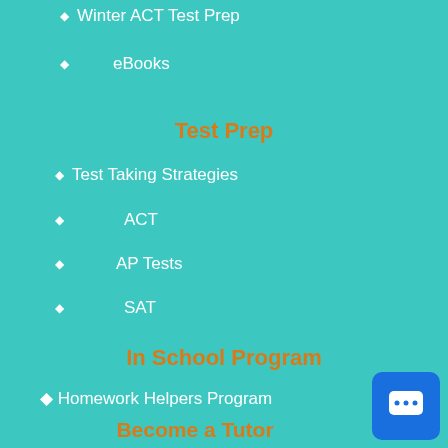Winter ACT Test Prep
eBooks
Test Prep
Test Taking Strategies
ACT
AP Tests
SAT
In School Program
Homework Helpers Program
Become a Tutor
[Figure (illustration): Cartoon illustration of a female tutor with brown hair and a blue bow, standing next to a whiteboard/easel, holding a pointer stick. Blue chat button in bottom right corner.]